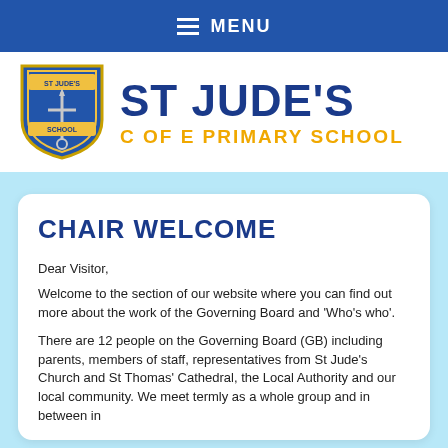MENU
[Figure (logo): St Jude's School shield logo with sword and scroll, blue and gold colors]
ST JUDE'S C OF E PRIMARY SCHOOL
CHAIR WELCOME
Dear Visitor,
Welcome to the section of our website where you can find out more about the work of the Governing Board and 'Who's who'.
There are 12 people on the Governing Board (GB) including parents, members of staff, representatives from St Jude's Church and St Thomas' Cathedral, the Local Authority and our local community. We meet termly as a whole group and in between in